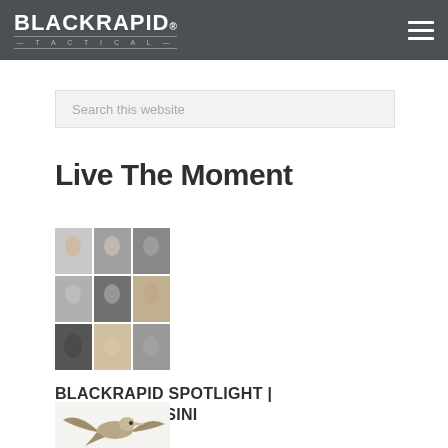BLACKRAPID TACTICAL
Search this website
Live The Moment
[Figure (photo): A collage of multiple black and white and color portrait photographs arranged in a grid]
BLACKRAPID SPOTLIGHT | STEFANIA ROSINI
[Figure (photo): A bird (likely a raptor) with wings spread, photographed from below against a white background]